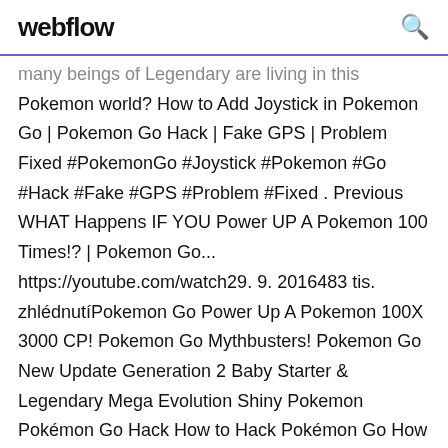webflow
many beings of Legendary are living in this Pokemon world? How to Add Joystick in Pokemon Go | Pokemon Go Hack | Fake GPS | Problem Fixed #PokemonGo #Joystick #Pokemon #Go #Hack #Fake #GPS #Problem #Fixed . Previous WHAT Happens IF YOU Power UP A Pokemon 100 Times!? | Pokemon Go... https://youtube.com/watch29. 9. 2016483 tis. zhlédnutíPokemon Go Power Up A Pokemon 100X 3000 CP! Pokemon Go Mythbusters! Pokemon Go New Update Generation 2 Baby Starter & Legendary Mega Evolution Shiny Pokemon Pokémon Go Hack How to Hack Pokémon Go How to Get unlimited... https://youtube.com/watchPřed 4 měsíci1 120